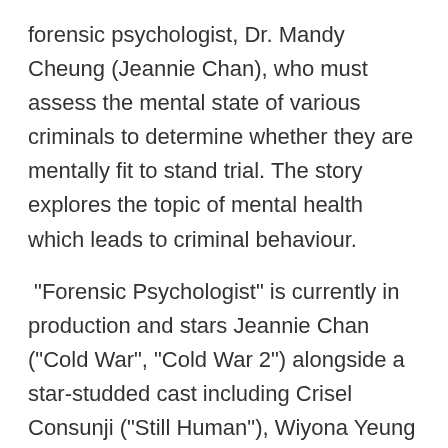forensic psychologist, Dr. Mandy Cheung (Jeannie Chan), who must assess the mental state of various criminals to determine whether they are mentally fit to stand trial. The story explores the topic of mental health which leads to criminal behaviour.
"Forensic Psychologist" is currently in production and stars Jeannie Chan ("Cold War", "Cold War 2") alongside a star-studded cast including Crisel Consunji ("Still Human"), Wiyona Yeung ("We Are Legends"), Locker Lam ("Zero to Hero"), Jason Wu, Bryant Mak ("My Prince Edward"), "JW" Joey Wong (Fraudstars"), Jai Day ("Chasing the Dragon"), Fat Cheong ("Who Sells Bricks in Hong Kong"), Ng Wing Sze ("The Abortionist"), Eunice Chan ("Murder Diary"), Ronny Lay ("Sorina Fok"), Shaopin Tsui ("Till Death Do Us Part"), Yuki Law, and Kenneth Cheung ("PTU"), Stephanie Au ("Battle of the